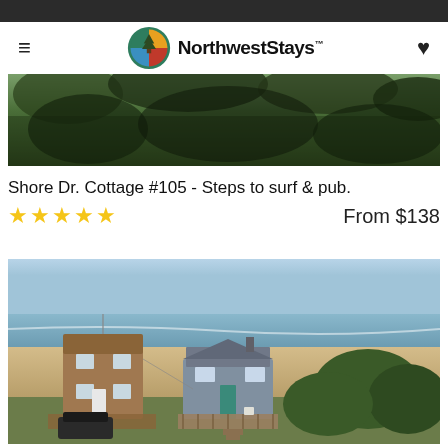NorthwestStays
[Figure (photo): Aerial or treetop view of forested area with deep shadows, showing tree canopy from above]
Shore Dr. Cottage #105 - Steps to surf & pub.
★★★★★  From $138
[Figure (photo): Aerial drone photograph of two beachfront cottages — one brown multi-story and one gray/blue smaller cottage — with sandy beach and ocean visible in the background, trees and dunes surrounding the properties, a car parked underneath the larger structure]